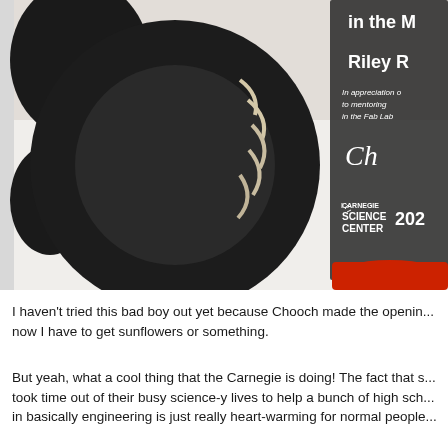[Figure (photo): A close-up photo of a black circular saw-like object with metallic spiral teeth on a black and white surface, next to a clear acrylic award plaque on a red base. The award reads: 'Riley R... In appreciation of... to mentoring... in the Fab Lab... Carnegie Science Center 202...' with a signature.]
I haven't tried this bad boy out yet because Chooch made the opening... now I have to get sunflowers or something.
But yeah, what a cool thing that the Carnegie is doing! The fact that s... took time out of their busy science-y lives to help a bunch of high sch... in basically engineering is just really heart-warming for normal people...